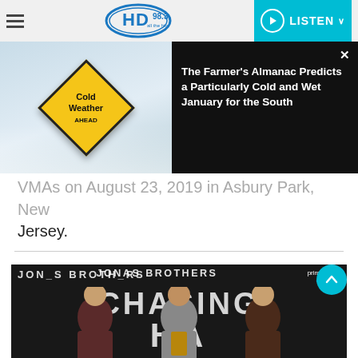HD 98.3 — LISTEN
[Figure (screenshot): Notification overlay showing a Cold Weather Ahead road sign image on the left and a dark panel on the right with the headline: The Farmer's Almanac Predicts a Particularly Cold and Wet January for the South, with a close (×) button.]
VMAs on August 23, 2019 in Asbury Park, New Jersey.
[Figure (photo): Photo of the Jonas Brothers (Nick, Joe, and Kevin) at the premiere of 'Jonas Brothers: Chasing Happiness' on an Amazon Prime Video branded backdrop. The large text 'JONAS BROTHERS' and 'CHASING HA[PPINESS]' is visible behind them.]